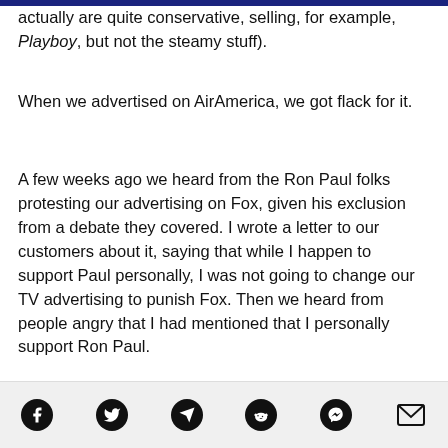actually are quite conservative, selling, for example, Playboy, but not the steamy stuff).
When we advertised on AirAmerica, we got flack for it.
A few weeks ago we heard from the Ron Paul folks protesting our advertising on Fox, given his exclusion from a debate they covered. I wrote a letter to our customers about it, saying that while I happen to support Paul personally, I was not going to change our TV advertising to punish Fox. Then we heard from people angry that I had mentioned that I personally support Ron Paul.
...we heard from the Family Values folk...
Share icons: Facebook, Twitter, Telegram, Reddit, Messenger, Email